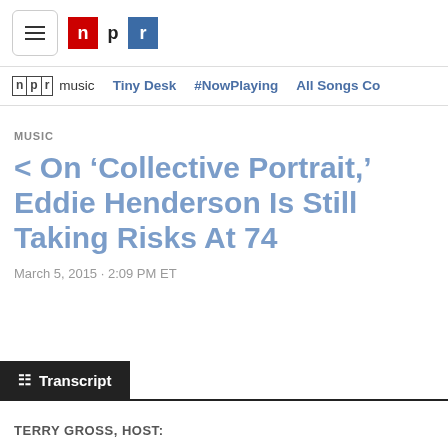NPR navigation header with hamburger menu and NPR logo
npr music  Tiny Desk  #NowPlaying  All Songs Co
MUSIC
< On ‘Collective Portrait,’ Eddie Henderson Is Still Taking Risks At 74
March 5, 2015 · 2:09 PM ET
Transcript
TERRY GROSS, HOST: